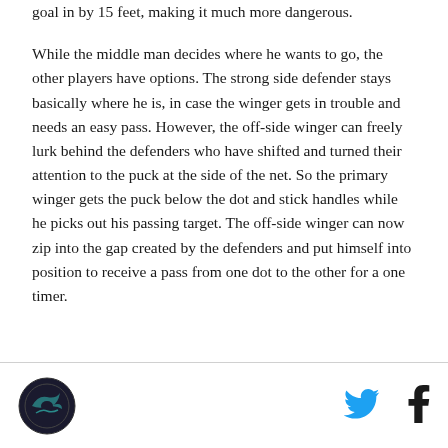goal in by 15 feet, making it much more dangerous.
While the middle man decides where he wants to go, the other players have options. The strong side defender stays basically where he is, in case the winger gets in trouble and needs an easy pass. However, the off-side winger can freely lurk behind the defenders who have shifted and turned their attention to the puck at the side of the net. So the primary winger gets the puck below the dot and stick handles while he picks out his passing target. The off-side winger can now zip into the gap created by the defenders and put himself into position to receive a pass from one dot to the other for a one timer.
[Figure (logo): Circular logo with dark background and stylized design]